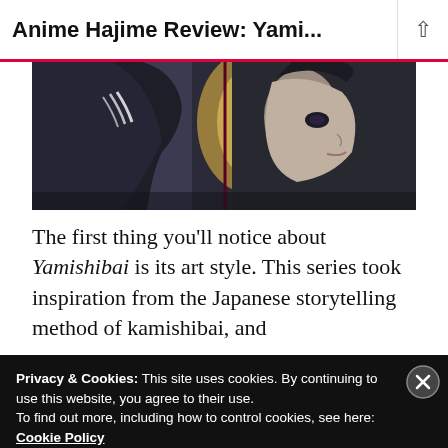Anime Hajime Review: Yami...
[Figure (illustration): Dark anime-style illustration showing two stylized figures in close profile, one wearing a dark garment with white stripes, against a dark background with an amber/orange light source.]
The first thing you'll notice about Yamishibai is its art style. This series took inspiration from the Japanese storytelling method of kamishibai, and
Privacy & Cookies: This site uses cookies. By continuing to use this website, you agree to their use.
To find out more, including how to control cookies, see here: Cookie Policy
Close and accept